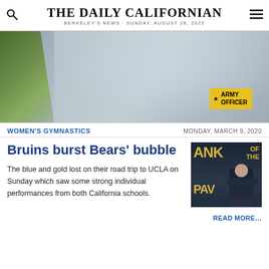THE DAILY CALIFORNIAN — BERKELEY'S NEWS · SUNDAY, AUGUST 28, 2022
[Figure (photo): Advertisement photo showing a person in a denim jacket standing near a house exterior with foliage visible on the left. A yellow badge overlay reads 'ARMY OFFICER' with a star icon.]
WOMEN'S GYMNASTICS
MONDAY, MARCH 9, 2020
Bruins burst Bears' bubble
[Figure (photo): Photo of a gymnast in a dark leotard sitting with arms crossed, in front of a scoreboard background with letters ANK, OF, THE, PAV visible in yellow.]
The blue and gold lost on their road trip to UCLA on Sunday which saw some strong individual performances from both California schools.
READ MORE…